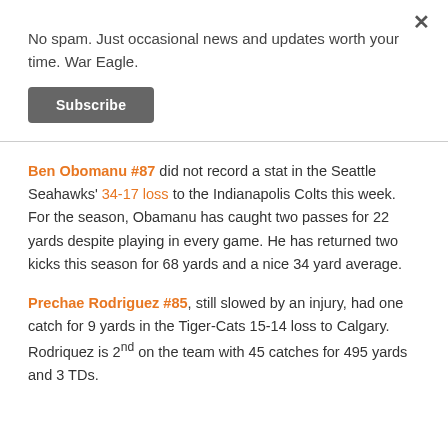No spam. Just occasional news and updates worth your time. War Eagle.
Subscribe
Ben Obomanu #87 did not record a stat in the Seattle Seahawks' 34-17 loss to the Indianapolis Colts this week. For the season, Obamanu has caught two passes for 22 yards despite playing in every game. He has returned two kicks this season for 68 yards and a nice 34 yard average.
Prechae Rodriguez #85, still slowed by an injury, had one catch for 9 yards in the Tiger-Cats 15-14 loss to Calgary. Rodriquez is 2nd on the team with 45 catches for 495 yards and 3 TDs.